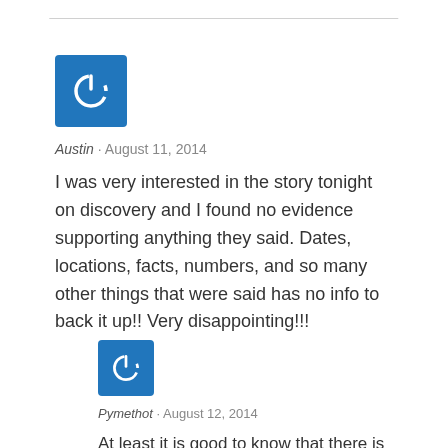[Figure (illustration): Blue square avatar with white power/on button icon]
Austin · August 11, 2014
I was very interested in the story tonight on discovery and I found no evidence supporting anything they said. Dates, locations, facts, numbers, and so many other things that were said has no info to back it up!! Very disappointing!!!
[Figure (illustration): Blue square avatar with white power/on button icon (reply)]
Pymethot · August 12, 2014
At least it is good to know that there is still